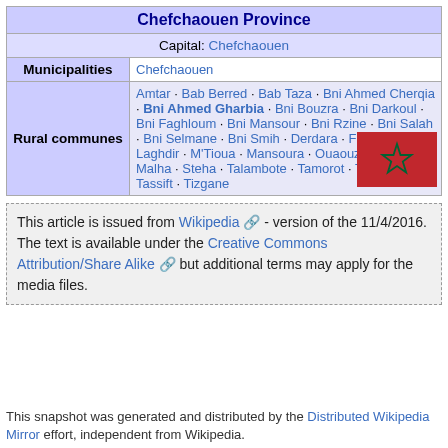|  |  |
| --- | --- |
| Chefchaouen Province |  |
| Capital: Chefchaouen |  |
| Municipalities | Chefchaouen |
| Rural communes | Amtar · Bab Berred · Bab Taza · Bni Ahmed Cherqia · Bni Ahmed Gharbia · Bni Bouzra · Bni Darkoul · Bni Faghloum · Bni Mansour · Bni Rzine · Bni Salah · Bni Selmane · Bni Smih · Derdara · Fifi · Iounane · Laghdir · M'Tioua · Mansoura · Ouaouzgane · Oued Malha · Steha · Talambote · Tamorot · Tanaqoub · Tassift · Tizgane |
This article is issued from Wikipedia - version of the 11/4/2016. The text is available under the Creative Commons Attribution/Share Alike but additional terms may apply for the media files.
This snapshot was generated and distributed by the Distributed Wikipedia Mirror effort, independent from Wikipedia.